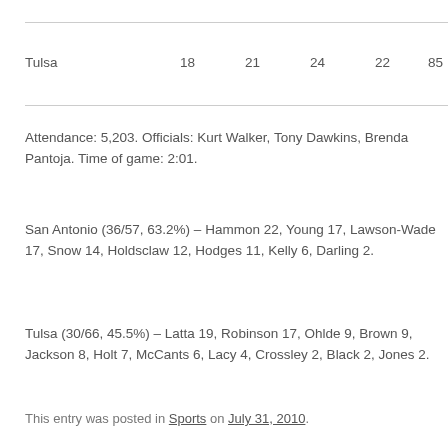|  | Q1 | Q2 | Q3 | Q4 | Total |
| --- | --- | --- | --- | --- | --- |
| Tulsa | 18 | 21 | 24 | 22 | 85 |
Attendance: 5,203. Officials: Kurt Walker, Tony Dawkins, Brenda Pantoja. Time of game: 2:01.
San Antonio (36/57, 63.2%) – Hammon 22, Young 17, Lawson-Wade 17, Snow 14, Holdsclaw 12, Hodges 11, Kelly 6, Darling 2.
Tulsa (30/66, 45.5%) – Latta 19, Robinson 17, Ohlde 9, Brown 9, Jackson 8, Holt 7, McCants 6, Lacy 4, Crossley 2, Black 2, Jones 2.
This entry was posted in Sports on July 31, 2010.